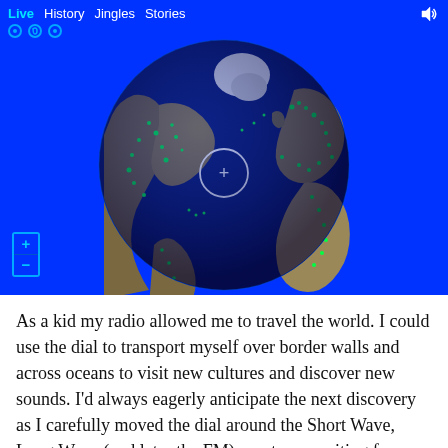[Figure (screenshot): Interactive globe/map application showing Earth with bright blue background. The globe shows landmasses (Americas, Europe, Africa, partially) with green dots/markers scattered along coastlines and populated areas. Navigation bar at top shows: Live (cyan), History, Jingles, Stories, speaker icon at top right. Social media icons below nav. Zoom +/- controls bottom left. A white circle with + is centered on the Atlantic Ocean.]
As a kid my radio allowed me to travel the world. I could use the dial to transport myself over border walls and across oceans to visit new cultures and discover new sounds. I'd always eagerly anticipate the next discovery as I carefully moved the dial around the Short Wave, Long Wave (and later the FM) spectrum, waiting for new music and voices to replace